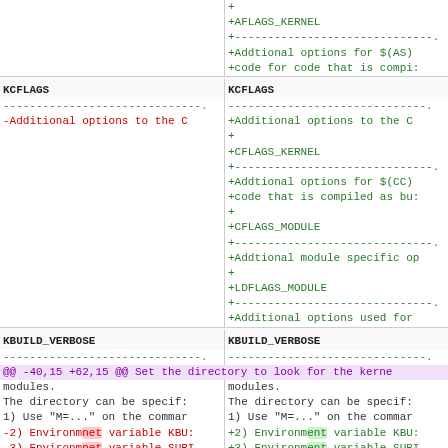Diff view of kernel build flags and KBUILD_VERBOSE documentation showing removed and added lines
| Left (old) | Right (new) |
| --- | --- |
| + | + |
| +AFLAGS_KERNEL | +AFLAGS_KERNEL |
| +-------------------------------. | +-------------------------------... |
| +Addtional options for $(AS) | +Addtional options for $(AS) |
| +code for code that is compi: | +code for code that is compi: |
| KCFLAGS | KCFLAGS |
| -------------------------------. | -------------------------------... |
| -Additional options to the C | +Additional options to the C |
|  | + |
|  | +CFLAGS_KERNEL |
|  | +-------------------------------... |
|  | +Addtional options for $(CC) |
|  | +code that is compiled as bu: |
|  | + |
|  | +CFLAGS_MODULE |
|  | +-------------------------------... |
|  | +Addtional module specific op |
|  | + |
|  | +LDFLAGS_MODULE |
|  | +-------------------------------... |
|  | +Additional options used for |
| KBUILD_VERBOSE | KBUILD_VERBOSE |
| -------------------------------. | -------------------------------... |
| @@ -40,15 +62,15 @@ Set the directory to look for the kernel |  |
| modules. | modules. |
| The directory can be specif: | The directory can be specif: |
| 1) Use "M=..." on the commar | 1) Use "M=..." on the commar |
| -2) Environmnet variable KBU: | +2) Environment variable KBU: |
| -3) Environmnet variable SUBI | +3) Environment variable SUBI |
| The possibilities are listed | The possibilities are listed |